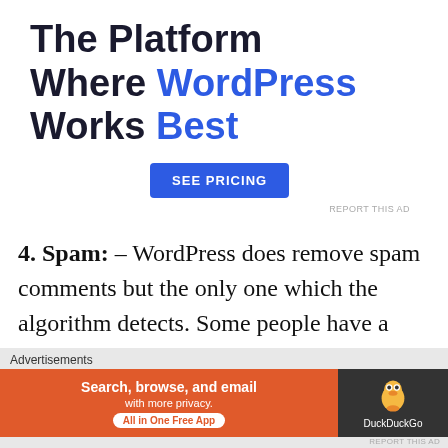[Figure (infographic): Advertisement banner: 'The Platform Where WordPress Works Best' with a blue 'SEE PRICING' button and 'REPORT THIS AD' link]
4. Spam: – WordPress does remove spam comments but the only one which the algorithm detects. Some people have a huge following. They've their comment section open
Advertisements
[Figure (infographic): DuckDuckGo advertisement: 'Search, browse, and email with more privacy. All in One Free App' on orange background with DuckDuckGo logo on dark background]